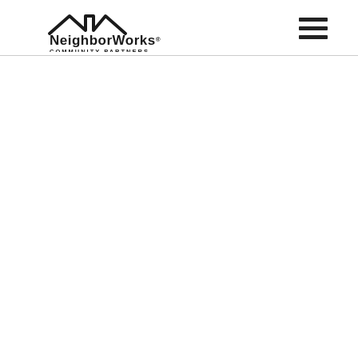[Figure (logo): NeighborWorks Community Partners logo with rooftop outline above text]
[Figure (other): Hamburger menu icon (three horizontal lines) in top right corner]